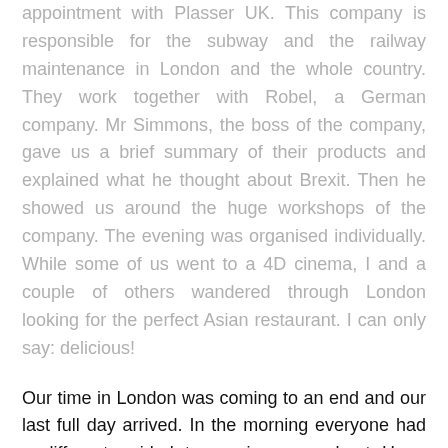appointment with Plasser UK. This company is responsible for the subway and the railway maintenance in London and the whole country. They work together with Robel, a German company. Mr Simmons, the boss of the company, gave us a brief summary of their products and explained what he thought about Brexit. Then he showed us around the huge workshops of the company. The evening was organised individually. While some of us went to a 4D cinema, I and a couple of others wandered through London looking for the perfect Asian restaurant. I can only say: delicious!
Our time in London was coming to an end and our last full day arrived. In the morning everyone had a different guided tour, mine was about Harry Potter. After we all had had lunch at Borough Market, we went to the Tate Modern, a museum in the building of an old power plant. Some might say that modern art is not really something for engineering students, but the